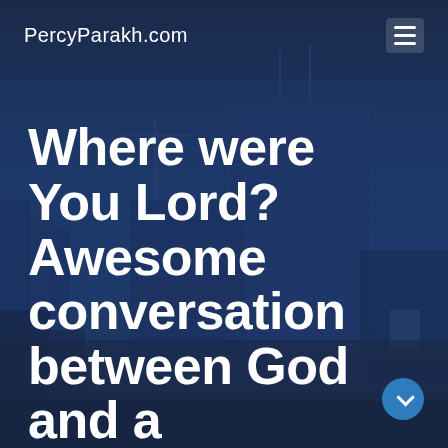PercyParakh.com
[Figure (screenshot): City skyline at dusk with tall glass office buildings against a dark blue sky, navigation bar overlay with site name and hamburger menu]
Where were You Lord? Awesome conversation between God and a